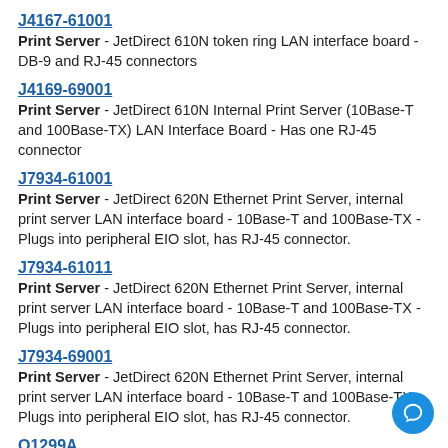J4167-61001
Print Server - JetDirect 610N token ring LAN interface board - DB-9 and RJ-45 connectors
J4169-69001
Print Server - JetDirect 610N Internal Print Server (10Base-T and 100Base-TX) LAN Interface Board - Has one RJ-45 connector
J7934-61001
Print Server - JetDirect 620N Ethernet Print Server, internal print server LAN interface board - 10Base-T and 100Base-TX - Plugs into peripheral EIO slot, has RJ-45 connector.
J7934-61011
Print Server - JetDirect 620N Ethernet Print Server, internal print server LAN interface board - 10Base-T and 100Base-TX - Plugs into peripheral EIO slot, has RJ-45 connector.
J7934-69001
Print Server - JetDirect 620N Ethernet Print Server, internal print server LAN interface board - 10Base-T and 100Base-TX - Plugs into peripheral EIO slot, has RJ-45 connector.
Q1299A
Protector - Sheet protectors - 0.1mm (4.0 mil) thick polypropylene sheet protectors for 'A' size (8.5-inches x 11 inches) documents - Has top and side openings for easy insertion and removal of documents - 50 sleeves per box